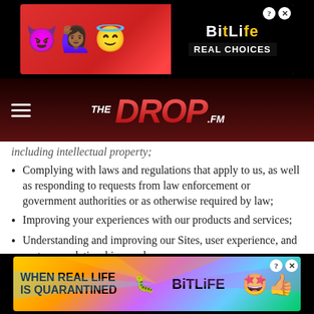[Figure (screenshot): BitLife app advertisement banner at top with emojis and 'REAL CHOICES' text]
[Figure (screenshot): The Drop FM radio station navigation bar with hamburger menu and logo]
including intellectual property;
Complying with laws and regulations that apply to us, as well as responding to requests from law enforcement or government authorities or as otherwise required by law;
Improving your experiences with our products and services;
Understanding and improving our Sites, user experience, and customer relationships; and
Enabling our business operations.
Where we rely on your consent to process your Personal Information, you have the right to change, withdraw or withhold your consent. Notwithstanding the forgoing, the processing
[Figure (screenshot): BitLife 'When Real Life Is Quarantined' advertisement banner at bottom]